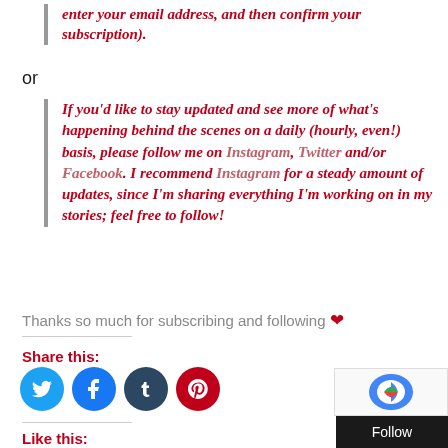enter your email address, and then confirm your subscription).
or
If you'd like to stay updated and see more of what's happening behind the scenes on a daily (hourly, even!) basis, please follow me on Instagram, Twitter and/or Facebook. I recommend Instagram for a steady amount of updates, since I'm sharing everything I'm working on in my stories; feel free to follow!
Thanks so much for subscribing and following ❤
Share this:
[Figure (infographic): Four social media sharing icons: Twitter (blue), Facebook (blue), Tumblr (dark blue-grey), Pinterest (red)]
Like this:
[Figure (infographic): Like button widget area]